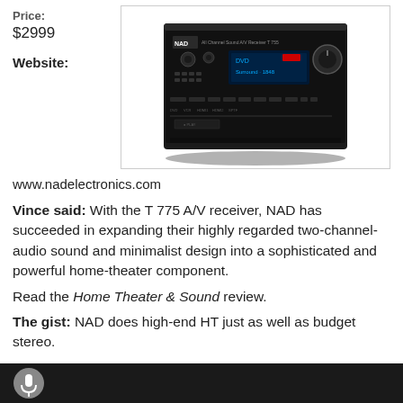Price: $2999
Website:
[Figure (photo): NAD T 775 A/V receiver, black component with display showing DVD info, front panel with knobs and buttons]
www.nadelectronics.com
Vince said: With the T 775 A/V receiver, NAD has succeeded in expanding their highly regarded two-channel-audio sound and minimalist design into a sophisticated and powerful home-theater component.
Read the Home Theater & Sound review.
The gist: NAD does high-end HT just as well as budget stereo.
[Figure (photo): Partial view of microphone at bottom of page on dark background]